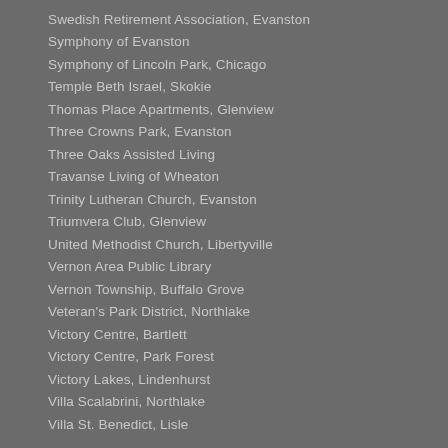Swedish Retirement Association, Evanston
Symphony of Evanston
Symphony of Lincoln Park, Chicago
Temple Beth Israel, Skokie
Thomas Place Apartments, Glenview
Three Crowns Park, Evanston
Three Oaks Assisted Living
Travanse Living of Wheaton
Trinity Lutheran Church, Evanston
Triumvera Club, Glenview
United Methodist Church, Libertyville
Vernon Area Public Library
Vernon Township, Buffalo Grove
Veteran's Park District, Northlake
Victory Centre, Bartlett
Victory Centre, Park Forest
Victory Lakes, Lindenhurst
Villa Scalabrini, Northlake
Villa St. Benedict, Lisle